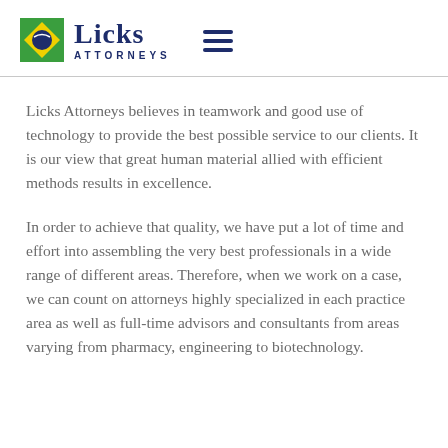[Figure (logo): Licks Attorneys logo with Brazilian flag icon and hamburger menu icon]
Licks Attorneys believes in teamwork and good use of technology to provide the best possible service to our clients. It is our view that great human material allied with efficient methods results in excellence.
In order to achieve that quality, we have put a lot of time and effort into assembling the very best professionals in a wide range of different areas. Therefore, when we work on a case, we can count on attorneys highly specialized in each practice area as well as full-time advisors and consultants from areas varying from pharmacy, engineering to biotechnology.